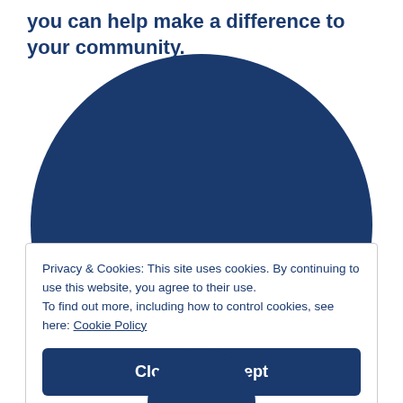you can help make a difference to your community.
[Figure (illustration): Large dark blue semicircle/circle shape centered on the page as a decorative background element]
Privacy & Cookies: This site uses cookies. By continuing to use this website, you agree to their use.
To find out more, including how to control cookies, see here: Cookie Policy
Close and accept